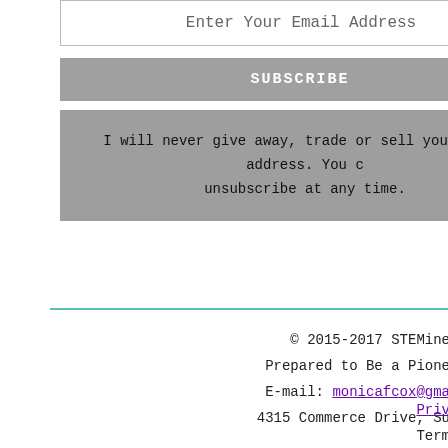Enter Your Email Address
SUBSCRIBE
I will never give away, trade or sell your email address. You can unsubscribe at any time.
© 2015-2017 STEMine
Prepared to Be a Pioneer
E-mail: monicafcox@gma...
4315 Commerce Drive, Su...
Priv...
Term...